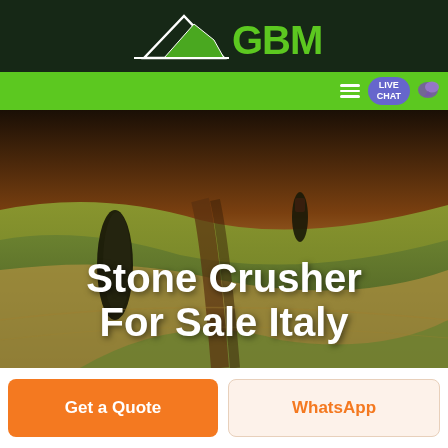[Figure (logo): GBM logo with white mountain/arrow icon and green GBM text on dark green background]
GBM — navigation bar with hamburger menu and LIVE CHAT button
[Figure (photo): Aerial photo of rolling green and brown agricultural fields at sunset with two dark cypress trees]
Stone Crusher For Sale Italy
Get a Quote
WhatsApp